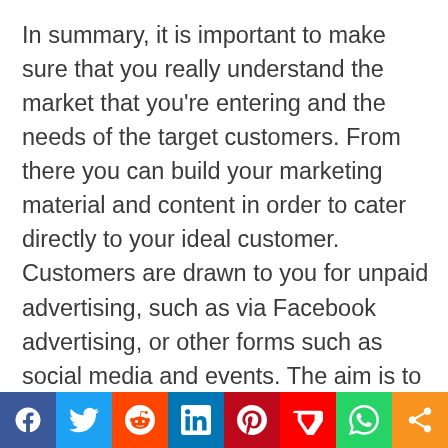In summary, it is important to make sure that you really understand the market that you're entering and the needs of the target customers. From there you can build your marketing material and content in order to cater directly to your ideal customer. Customers are drawn to you for unpaid advertising, such as via Facebook advertising, or other forms such as social media and events. The aim is to make sure at your brand can be found online, in order for you to create as much value as possible. It's also important to make sure that you develop your networks, and up and establish strong relationships with your ideal customer. Hanging around with the right key people of
[Figure (other): Social media share bar with icons for Facebook, Twitter, Reddit, LinkedIn, Pinterest, Mix, WhatsApp, and Share]